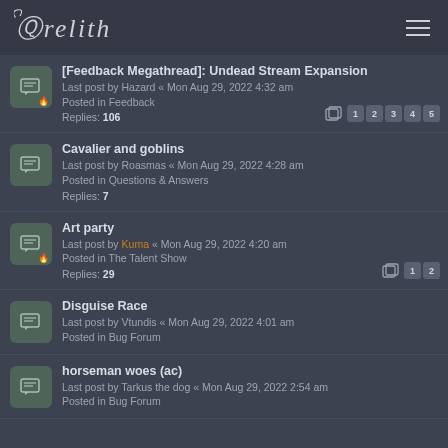Arelith
[Feedback Megathread]: Undead Stream Expansion
Last post by Hazard « Mon Aug 29, 2022 4:32 am
Posted in Feedback
Replies: 106
Cavalier and goblins
Last post by Roasmas « Mon Aug 29, 2022 4:28 am
Posted in Questions & Answers
Replies: 7
Art party
Last post by Kuma « Mon Aug 29, 2022 4:20 am
Posted in The Talent Show
Replies: 29
Disguise Race
Last post by Vtundis « Mon Aug 29, 2022 4:01 am
Posted in Bug Forum
horseman woes (ac)
Last post by Tarkus the dog « Mon Aug 29, 2022 2:54 am
Posted in Bug Forum